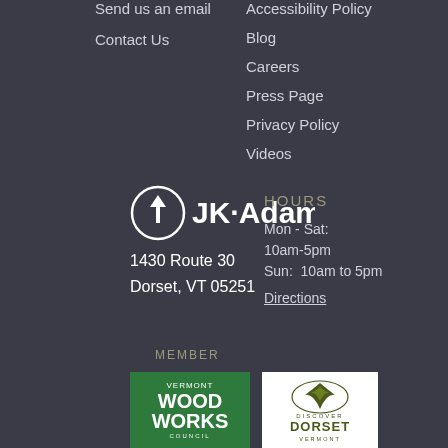Send us an email
Contact Us
Accessibility Policy
Blog
Careers
Press Page
Privacy Policy
Videos
[Figure (logo): JK Adams circular arrow logo with text]
1430 Route 30
Dorset, VT 05251
HOURS
Mon - Sat: 10am-5pm
Sun:  10am to 5pm
Directions
MEMBER
[Figure (logo): Vermont Wood Works Council green badge]
[Figure (logo): Discover Dorset Vermont white badge with fern logo]